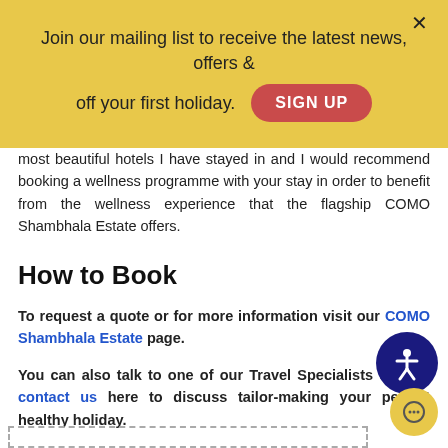Join our mailing list to receive the latest news, offers & off your first holiday.
most beautiful hotels I have stayed in and I would recommend booking a wellness programme with your stay in order to benefit from the wellness experience that the flagship COMO Shambhala Estate offers.
How to Book
To request a quote or for more information visit our COMO Shambhala Estate page.
You can also talk to one of our Travel Specialists on or contact us here to discuss tailor-making your perfect healthy holiday.